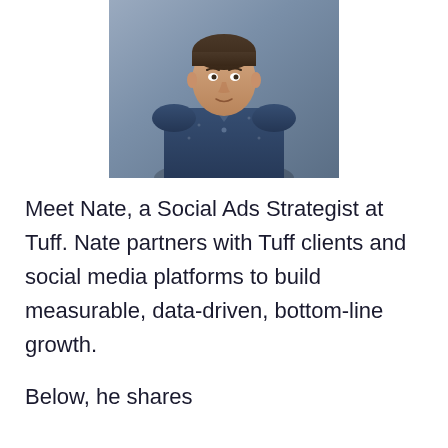[Figure (photo): Portrait photo of a man (Nate) wearing a dark blue patterned short-sleeve button-up shirt, against a grey background, cropped at the torso]
Meet Nate, a Social Ads Strategist at Tuff. Nate partners with Tuff clients and social media platforms to build measurable, data-driven, bottom-line growth.
Below, he shares